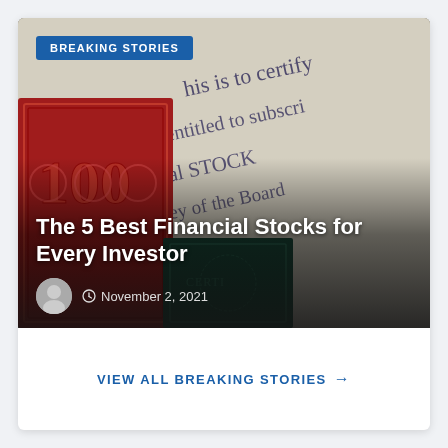[Figure (photo): Photograph of vintage stock certificates — a red certificate with '100' visible on the left and old cursive handwriting on cream paper reading 'This is to certify... is entitled to subscribe... capital stock... convey of the Board...' in the background, dark overlay at bottom]
BREAKING STORIES
The 5 Best Financial Stocks for Every Investor
November 2, 2021
VIEW ALL BREAKING STORIES →